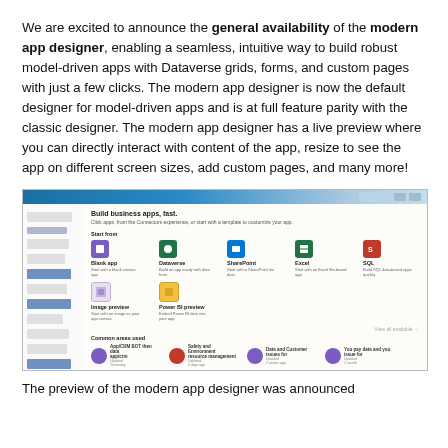We are excited to announce the general availability of the modern app designer, enabling a seamless, intuitive way to build robust model-driven apps with Dataverse grids, forms, and custom pages with just a few clicks. The modern app designer is now the default designer for model-driven apps and is at full feature parity with the classic designer. The modern app designer has a live preview where you can directly interact with content of the app, resize to see the app on different screen sizes, add custom pages, and many more!
[Figure (screenshot): Screenshot of the modern app designer interface showing Build business apps, fast heading with icon grid including Blank app, Dataverse, SharePoint, Excel, SQL options, and image preview and Power BI preview options below, followed by a recent apps section and a table view.]
The preview of the modern app designer was announced